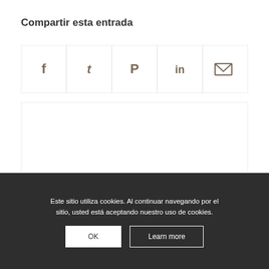Compartir esta entrada
[Figure (other): Social sharing bar with icons for Facebook, Twitter, Pinterest, LinkedIn, and Email]
[Figure (other): Empty content box with 'Administrador' watermark text]
Este sitio utiliza cookies. Al continuar navegando por el sitio, usted está aceptando nuestro uso de cookies.
OK
Learn more